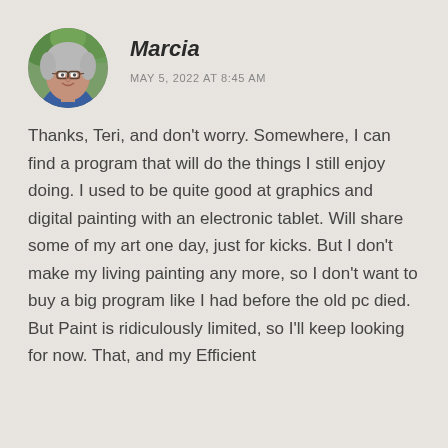[Figure (photo): Circular avatar photo of an older woman with short gray hair and glasses, smiling outdoors with greenery in the background]
Marcia
MAY 5, 2022 AT 8:45 AM
Thanks, Teri, and don't worry. Somewhere, I can find a program that will do the things I still enjoy doing. I used to be quite good at graphics and digital painting with an electronic tablet. Will share some of my art one day, just for kicks. But I don't make my living painting any more, so I don't want to buy a big program like I had before the old pc died. But Paint is ridiculously limited, so I'll keep looking for now. That, and my Efficient